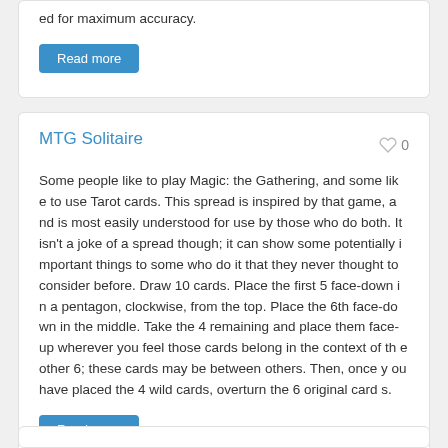ed for maximum accuracy.
Read more
MTG Solitaire
Some people like to play Magic: the Gathering, and some like to use Tarot cards. This spread is inspired by that game, and is most easily understood for use by those who do both. It isn't a joke of a spread though; it can show some potentially important things to some who do it that they never thought to consider before. Draw 10 cards. Place the first 5 face-down in a pentagon, clockwise, from the top. Place the 6th face-down in the middle. Take the 4 remaining and place them face-up wherever you feel those cards belong in the context of the other 6; these cards may be between others. Then, once you have placed the 4 wild cards, overturn the 6 original cards.
Read more